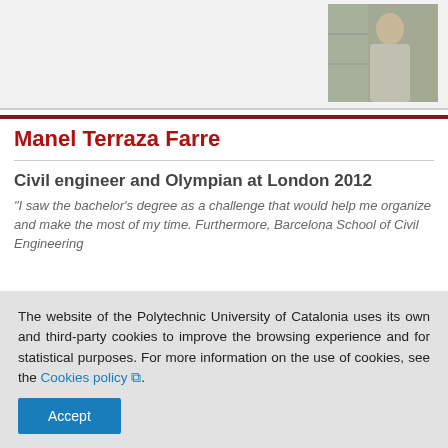[Figure (photo): Photograph of Manel Terraza Farre, a woman standing indoors]
Manel Terraza Farre
Civil engineer and Olympian at London 2012
"I saw the bachelor's degree as a challenge that would help me organize and make the most of my time. Furthermore, Barcelona School of Civil Engineering
The website of the Polytechnic University of Catalonia uses its own and third-party cookies to improve the browsing experience and for statistical purposes. For more information on the use of cookies, see the Cookies policy .
Accept